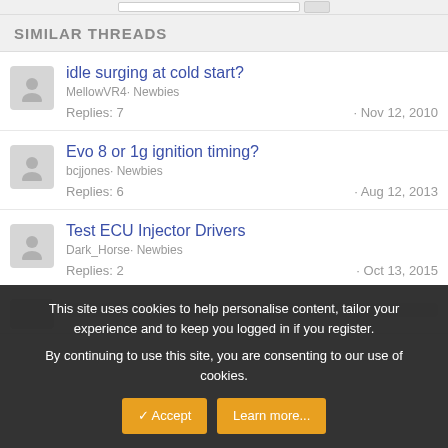SIMILAR THREADS
idle surging at cold start? · MellowVR4· Newbies · Replies: 7 · Nov 12, 2010
Evo 8 or 1g ignition timing? · bcjjones· Newbies · Replies: 6 · Aug 12, 2013
Test ECU Injector Drivers · Dark_Horse· Newbies · Replies: 2 · Oct 13, 2015
This site uses cookies to help personalise content, tailor your experience and to keep you logged in if you register. By continuing to use this site, you are consenting to our use of cookies.